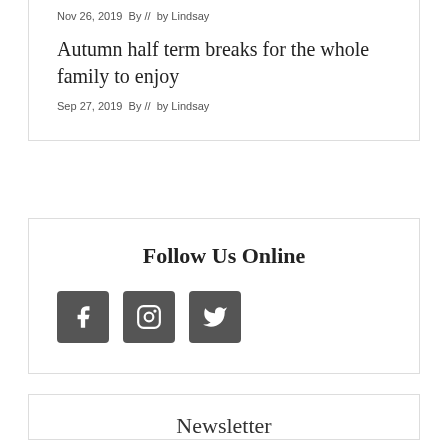Nov 26, 2019  By //  by Lindsay
Autumn half term breaks for the whole family to enjoy
Sep 27, 2019  By //  by Lindsay
Follow Us Online
[Figure (infographic): Three social media icon buttons: Facebook, Instagram, Twitter — dark grey rounded squares with white icons]
Newsletter